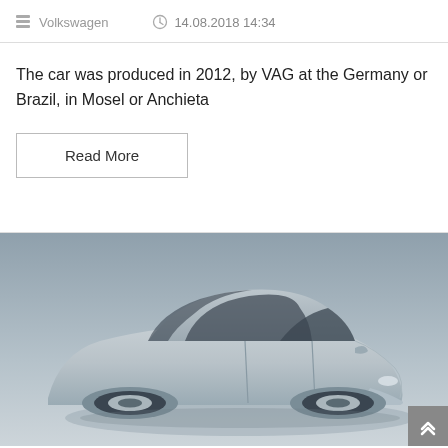Volkswagen  14.08.2018 14:34
The car was produced in 2012, by VAG at the Germany or Brazil, in Mosel or Anchieta
Read More
[Figure (photo): A silver/grey Volkswagen sedan car photographed from a front-side angle against a grey gradient background. The car body, roof, windows, and side mirror are visible.]